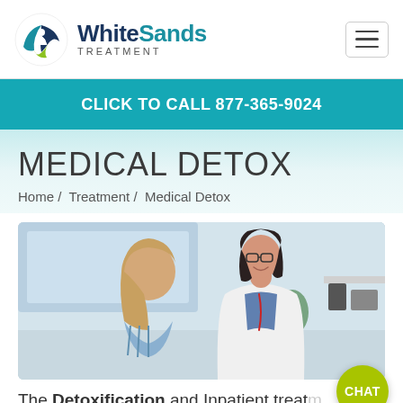WhiteSands TREATMENT
CLICK TO CALL 877-365-9024
MEDICAL DETOX
Home / Treatment / Medical Detox
[Figure (photo): A smiling female doctor in a white coat with glasses consulting with a female patient in a medical office setting.]
The Detoxification and Inpatient treat... at White Sands Treatment C...